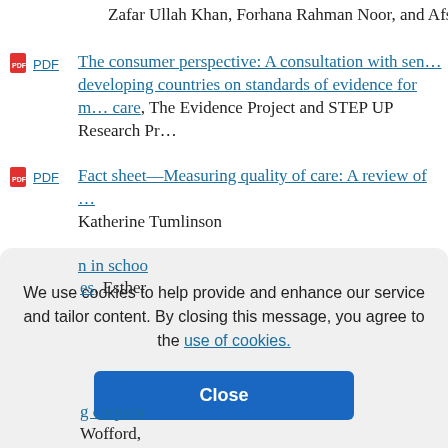Zafar Ullah Khan, Forhana Rahman Noor, and Afsan…
PDF — The consumer perspective: A consultation with sen… developing countries on standards of evidence for … care, The Evidence Project and STEP UP Research Pr…
PDF — Fact sheet—Measuring quality of care: A review of … Katherine Tumlinson
PDF — Measuring quality of care: A review of previously us… indicators, Katherine Tumlinson
PDF — …n in schoo… …es, Esther ndie
PDF — …g corpora… Wofford,…
We use cookies to help provide and enhance our service and tailor content. By closing this message, you agree to the use of cookies.
Close